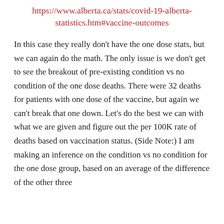https://www.alberta.ca/stats/covid-19-alberta-statistics.htm#vaccine-outcomes
In this case they really don't have the one dose stats, but we can again do the math. The only issue is we don't get to see the breakout of pre-existing condition vs no condition of the one dose deaths. There were 32 deaths for patients with one dose of the vaccine, but again we can't break that one down. Let's do the best we can with what we are given and figure out the per 100K rate of deaths based on vaccination status. (Side Note:) I am making an inference on the condition vs no condition for the one dose group, based on an average of the difference of the other three